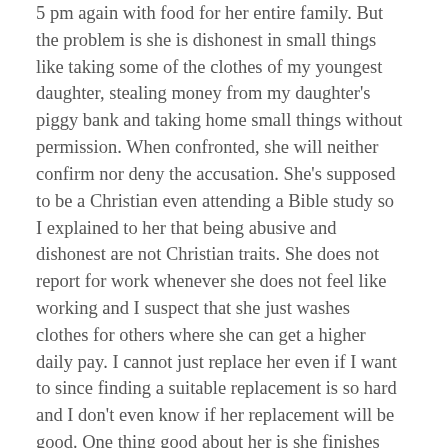5 pm again with food for her entire family. But the problem is she is dishonest in small things like taking some of the clothes of my youngest daughter, stealing money from my daughter's piggy bank and taking home small things without permission. When confronted, she will neither confirm nor deny the accusation. She's supposed to be a Christian even attending a Bible study so I explained to her that being abusive and dishonest are not Christian traits. She does not report for work whenever she does not feel like working and I suspect that she just washes clothes for others where she can get a higher daily pay. I cannot just replace her even if I want to since finding a suitable replacement is so hard and I don't even know if her replacement will be good. One thing good about her is she finishes her job like washing clothes and cleaning the house. I just pray for her and turned her over to the Lord since I know that God allows all things to happen for His own purpose. Thanks for the post. God bless you all alwrys.